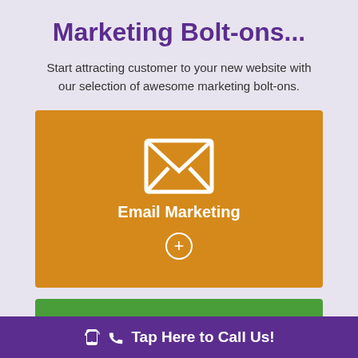Marketing Bolt-ons...
Start attracting customer to your new website with our selection of awesome marketing bolt-ons.
[Figure (infographic): Orange card with white envelope icon, 'Email Marketing' label, and a white plus circle button]
[Figure (infographic): Green card partially visible at bottom with a white circle icon]
Tap Here to Call Us!